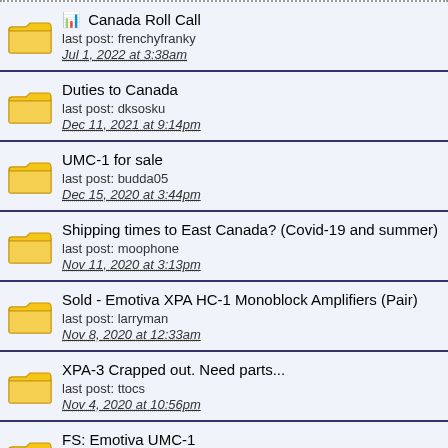Canada Roll Call
last post: frenchyfranky
Jul 1, 2022 at 3:38am
Duties to Canada
last post: dksosku
Dec 11, 2021 at 9:14pm
UMC-1 for sale
last post: budda05
Dec 15, 2020 at 3:44pm
Shipping times to East Canada? (Covid-19 and summer)
last post: moophone
Nov 11, 2020 at 3:13pm
Sold - Emotiva XPA HC-1 Monoblock Amplifiers (Pair)
last post: larryman
Nov 8, 2020 at 12:33am
XPA-3 Crapped out. Need parts...
last post: ttocs
Nov 4, 2020 at 10:56pm
FS: Emotiva UMC-1
last post: gentlejax
Oct 5, 2020 at 7:59pm